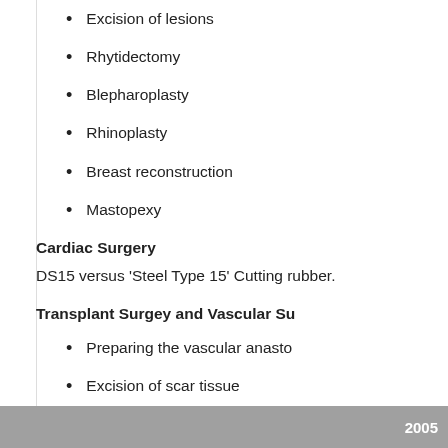Excision of lesions
Rhytidectomy
Blepharoplasty
Rhinoplasty
Breast reconstruction
Mastopexy
Cardiac Surgery
DS15 versus 'Steel Type 15' Cutting rubber.
Transplant Surgey and Vascular Su
Preparing the vascular anasto
Excision of scar tissue
Thrombendarteriectomy
Cold preparation of transplant
2005